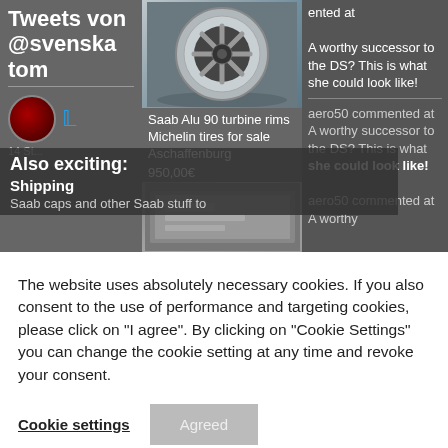Tweets von @svenskatom
Also exciting:
Shipping
Saab caps and other Saab stuff to
Saab Alu 90 turbine rims Michelin tires for sale Aschaffenburg 950,00€
ented at
A worthy successor to the DS? This is what she could look like!
aero50 commented at A worthy successor to the DS? This is what she could look like!
aero50 commented at A worthy
The website uses absolutely necessary cookies. If you also consent to the use of performance and targeting cookies, please click on "I agree". By clicking on "Cookie Settings" you can change the cookie setting at any time and revoke your consent.
Cookie settings
Agreed